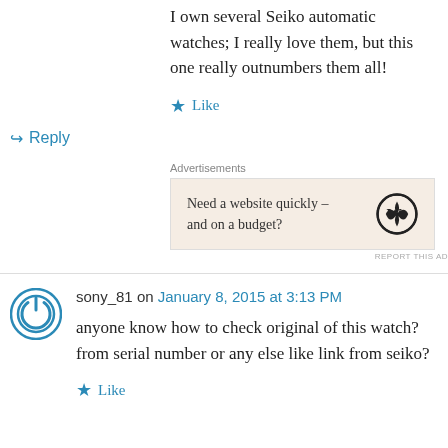I own several Seiko automatic watches; I really love them, but this one really outnumbers them all!
★ Like
↪ Reply
Advertisements
[Figure (other): Advertisement box with text 'Need a website quickly – and on a budget?' and WordPress logo]
REPORT THIS AD
sony_81 on January 8, 2015 at 3:13 PM
anyone know how to check original of this watch? from serial number or any else like link from seiko?
★ Like